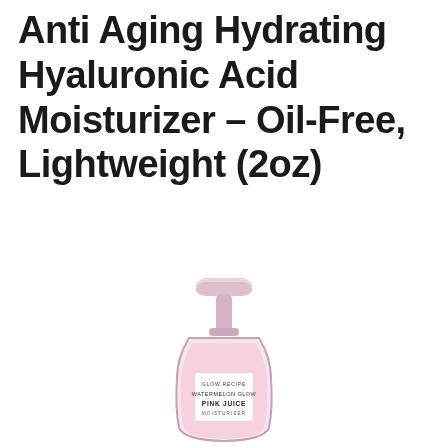Anti Aging Hydrating Hyaluronic Acid Moisturizer – Oil-Free, Lightweight (2oz)
[Figure (photo): Product photo of Glow Recipe Watermelon Glow Pink Juice Moisturizer in a clear pink pump bottle with a light pink pump top and a white label reading GLOW RECIPE / WATERMELON GLOW / PINK JUICE / MOISTURIZER]